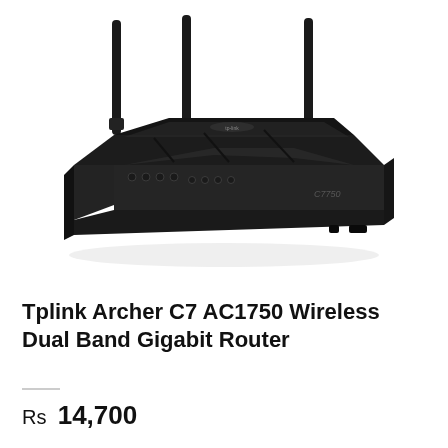[Figure (photo): TP-Link Archer C7 AC1750 Wireless Dual Band Gigabit Router — a black router with three tall antennas, glossy black casing, LED indicator lights on the front, and the model label 'C7750' visible on the body. The router is photographed at an angle on a white background.]
Tplink Archer C7 AC1750 Wireless Dual Band Gigabit Router
Rs 14,700